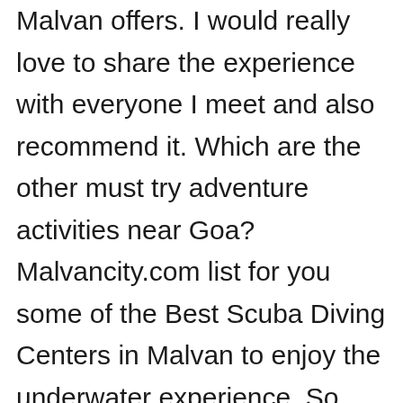Malvan offers. I would really love to share the experience with everyone I meet and also recommend it. Which are the other must try adventure activities near Goa? Malvancity.com list for you some of the Best Scuba Diving Centers in Malvan to enjoy the underwater experience. So this is becoming one of the most preferred tourist destination in India.Located at Tarkarli â Malvan beach, Morya Scuba diving & Water Sports Group offers you If you combine scuba diving and water sports in a single package then you saves your money...